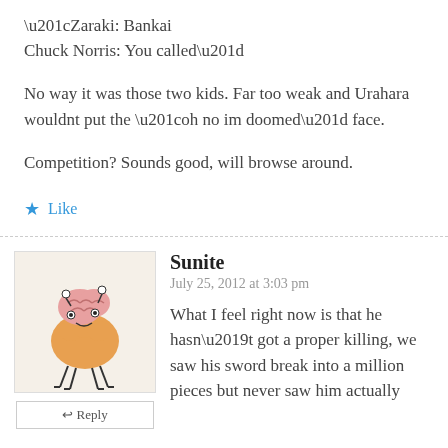“Zaraki: Bankai
Chuck Norris: You called”
No way it was those two kids. Far too weak and Urahara wouldnt put the “oh no im doomed” face.
Competition? Sounds good, will browse around.
★ Like
Sunite
July 25, 2012 at 3:03 pm
[Figure (illustration): Avatar illustration of a cartoon character resembling a brain-like creature with orange body and stick legs]
What I feel right now is that he hasn’t got a proper killing, we saw his sword break into a million pieces but never saw him actually